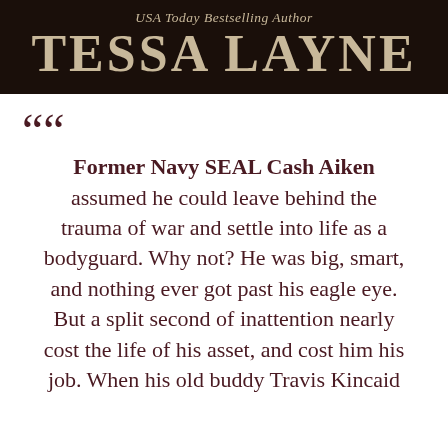[Figure (illustration): Dark brown banner with author name. Top line reads 'USA Today Bestselling Author' in italic serif font in tan/gold color. Below in large bold serif letters: 'TESSA LAYNE' in tan/gold color on dark brown background.]
““ Former Navy SEAL Cash Aiken assumed he could leave behind the trauma of war and settle into life as a bodyguard. Why not? He was big, smart, and nothing ever got past his eagle eye. But a split second of inattention nearly cost the life of his asset, and cost him his job. When his old buddy Travis Kincaid